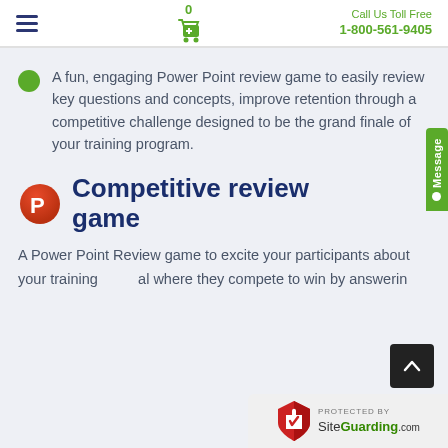≡  0 [cart]  Call Us Toll Free 1-800-561-9405
A fun, engaging Power Point review game to easily review key questions and concepts, improve retention through a competitive challenge designed to be the grand finale of your training program.
Competitive review game
A Power Point Review game to excite your participants about your training al where they compete to win by answering about the training on a review of f